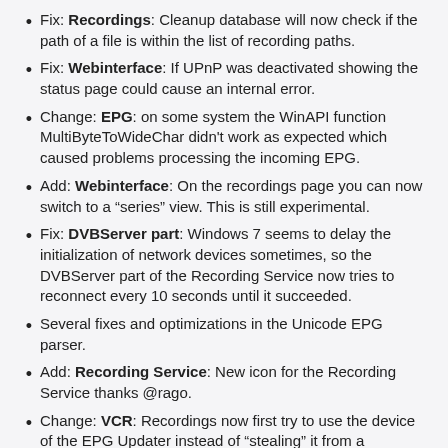Fix: Recordings: Cleanup database will now check if the path of a file is within the list of recording paths.
Fix: Webinterface: If UPnP was deactivated showing the status page could cause an internal error.
Change: EPG: on some system the WinAPI function MultiByteToWideChar didn't work as expected which caused problems processing the incoming EPG.
Add: Webinterface: On the recordings page you can now switch to a “series” view. This is still experimental.
Fix: DVBServer part: Windows 7 seems to delay the initialization of network devices sometimes, so the DVBServer part of the Recording Service now tries to reconnect every 10 seconds until it succeeded.
Several fixes and optimizations in the Unicode EPG parser.
Add: Recording Service: New icon for the Recording Service thanks @rago.
Change: VCR: Recordings now first try to use the device of the EPG Updater instead of “stealing” it from a streaming client.